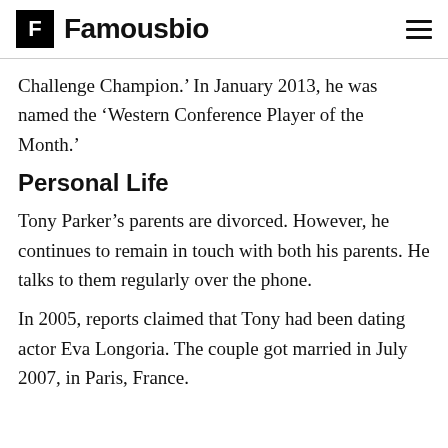Famousbio
Challenge Champion.’ In January 2013, he was named the ‘Western Conference Player of the Month.’
Personal Life
Tony Parker’s parents are divorced. However, he continues to remain in touch with both his parents. He talks to them regularly over the phone.
In 2005, reports claimed that Tony had been dating actor Eva Longoria. The couple got married in July 2007, in Paris, France.